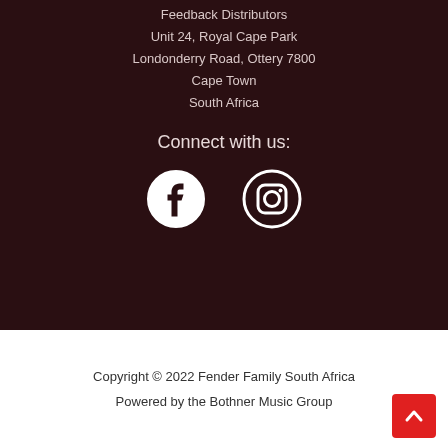Feedback Distributors
Unit 24, Royal Cape Park
Londonderry Road, Ottery 7800
Cape Town
South Africa
Connect with us:
[Figure (illustration): Facebook and Instagram social media icons in white circle outlines on dark background]
Copyright © 2022 Fender Family South Africa
Powered by the Bothner Music Group
[Figure (illustration): Red scroll-to-top button with white upward chevron arrow]